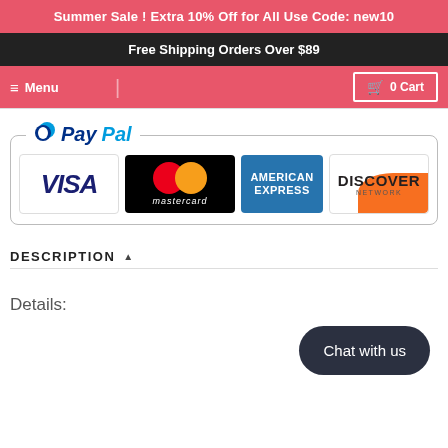Summer Sale ! Extra 10% Off for All Use Code: new10
Free Shipping Orders Over $89
Menu   0 Cart
[Figure (logo): PayPal logo with Visa, Mastercard, American Express, and Discover payment method logos inside a rounded border box]
DESCRIPTION
Details:
[Figure (other): Chat with us button (dark rounded rectangle)]